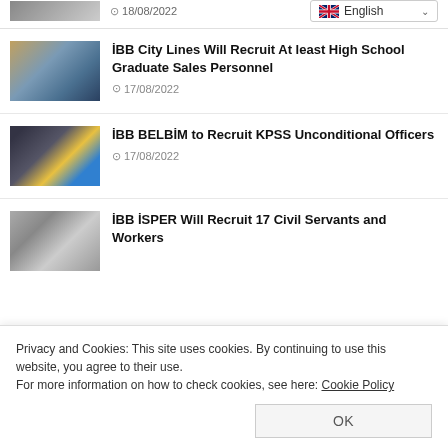18/08/2022 | English
İBB City Lines Will Recruit At least High School Graduate Sales Personnel — 17/08/2022
İBB BELBİM to Recruit KPSS Unconditional Officers — 17/08/2022
İBB İSPER Will Recruit 17 Civil Servants and Workers
Privacy and Cookies: This site uses cookies. By continuing to use this website, you agree to their use.
For more information on how to check cookies, see here: Cookie Policy